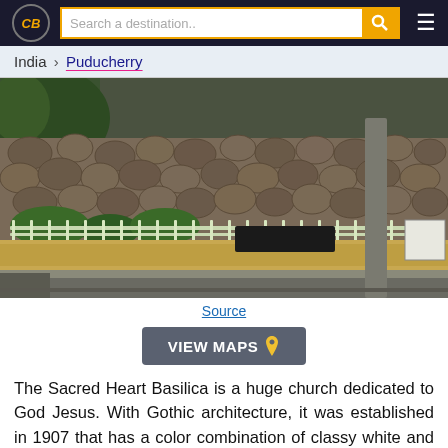CB | Search a destination..
India > Puducherry
[Figure (photo): Exterior photo of Sacred Heart Basilica in Puducherry showing stone wall with cobblestone boulders, white iron fence, a concrete pillar, and street in foreground]
Source
VIEW MAPS
The Sacred Heart Basilica is a huge church dedicated to God Jesus. With Gothic architecture, it was established in 1907 that has a color combination of classy white and soft brownish red which makes the outlook of the church highly elegant. With lightning at night, the church looks even more beautiful. Talking of popularity, thousands of people visit this